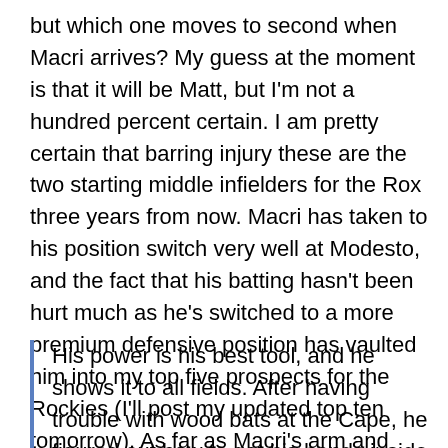but which one moves to second when Macri arrives? My guess at the moment is that it will be Matt, but I'm not a hundred percent certain. I am pretty certain that barring injury these are the two starting middle infielders for the Rox three years from now. Macri has taken to his position switch very well at Modesto, and the fact that his batting hasn't been hurt much as he's switched to a more premium defensive position has vaulted him into my top five prospects for the Rockies (I'll post my updated top ten tomorrow). As far as Macri's arm and power goes, I'll pull the quote from the Baseball America Prospect Handbook 2005:
His power is his best tool, and he shows it to all fields. After having trouble with wood bats at the Cape, he figured out how to get his hands inside the ball, giving Macri did then get to something, he'll